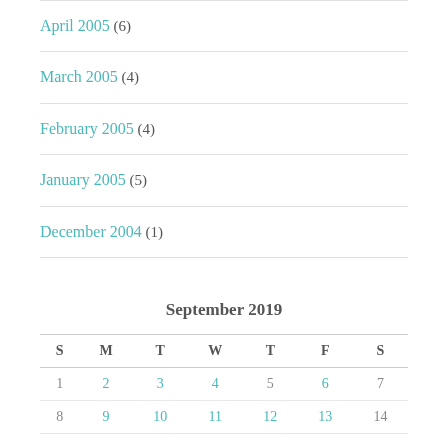April 2005 (6)
March 2005 (4)
February 2005 (4)
January 2005 (5)
December 2004 (1)
| S | M | T | W | T | F | S |
| --- | --- | --- | --- | --- | --- | --- |
| 1 | 2 | 3 | 4 | 5 | 6 | 7 |
| 8 | 9 | 10 | 11 | 12 | 13 | 14 |